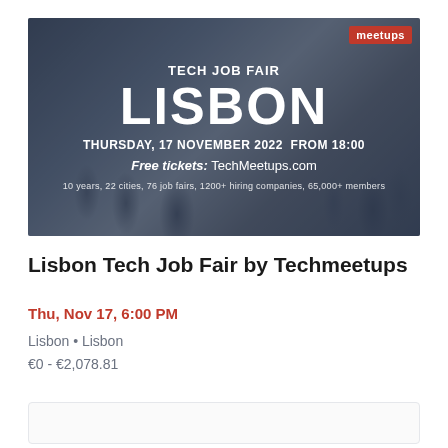[Figure (photo): Tech Job Fair Lisbon promotional banner showing a crowd of people at a job fair event with overlay text. Top right shows 'meetups' badge in red. Center text reads: TECH JOB FAIR LISBON, THURSDAY, 17 NOVEMBER 2022 FROM 18:00, Free tickets: TechMeetups.com, 10 years, 22 cities, 76 job fairs, 1200+ hiring companies, 65,000+ members.]
Lisbon Tech Job Fair by Techmeetups
Thu, Nov 17, 6:00 PM
Lisbon • Lisbon
€0 - €2,078.81